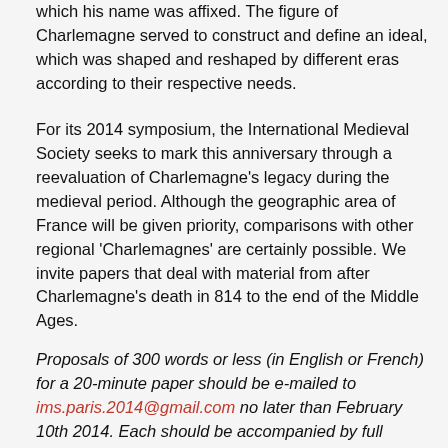which his name was affixed. The figure of Charlemagne served to construct and define an ideal, which was shaped and reshaped by different eras according to their respective needs.
For its 2014 symposium, the International Medieval Society seeks to mark this anniversary through a reevaluation of Charlemagne's legacy during the medieval period. Although the geographic area of France will be given priority, comparisons with other regional 'Charlemagnes' are certainly possible. We invite papers that deal with material from after Charlemagne's death in 814 to the end of the Middle Ages.
Proposals of 300 words or less (in English or French) for a 20-minute paper should be e-mailed to ims.paris.2014@gmail.com no later than February 10th 2014. Each should be accompanied by full contact information. (A complete list of guidelines...